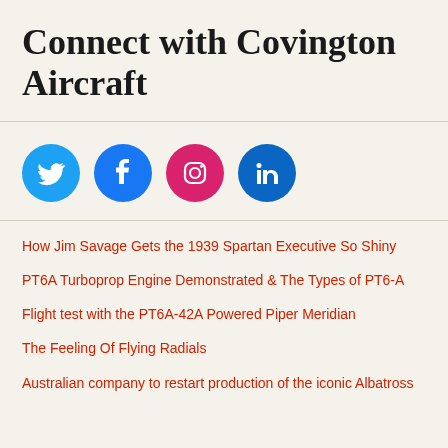Connect with Covington Aircraft
[Figure (infographic): Four social media icons in colored circles: Twitter (blue), Facebook (blue), Instagram (pink/magenta), LinkedIn (dark blue)]
How Jim Savage Gets the 1939 Spartan Executive So Shiny
PT6A Turboprop Engine Demonstrated & The Types of PT6-A
Flight test with the PT6A-42A Powered Piper Meridian
The Feeling Of Flying Radials
Australian company to restart production of the iconic Albatross